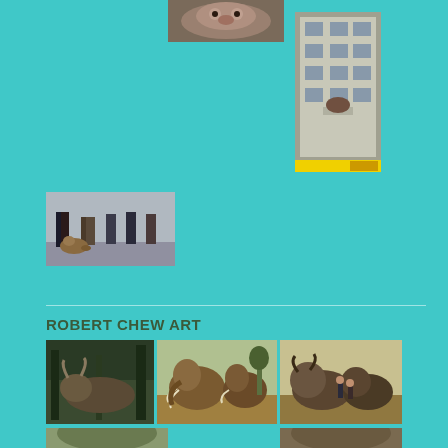[Figure (photo): Close-up photo of an animal (appears to be a dog or cat face) at top center]
[Figure (photo): Photo of a tall apartment building with a horse or large animal on a balcony, yellow banner at bottom]
[Figure (photo): Street scene with people walking and a small dog or animal near feet]
ROBERT CHEW ART
[Figure (photo): Digital art painting of prehistoric or fantasy animals in a forest]
[Figure (photo): Digital art painting of woolly mammoths in an open landscape]
[Figure (photo): Digital art painting of buffalo or bison with figures in a grassland]
[Figure (photo): Partial bottom photo - animal art piece 1]
[Figure (photo): Partial bottom photo - animal art piece 2]